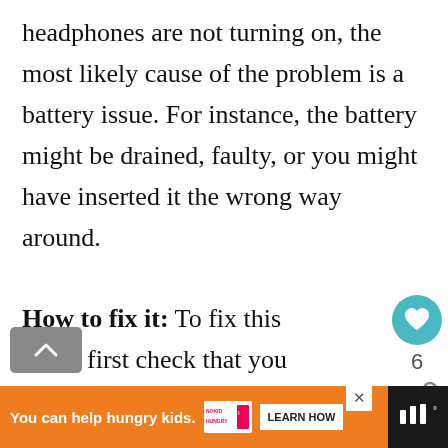headphones are not turning on, the most likely cause of the problem is a battery issue. For instance, the battery might be drained, faulty, or you might have inserted it the wrong way around.
How to fix it: To fix this issue, first check that you have inserted the battery the correct way around. Take the batteries out and confirm the visually matching the battery's poles to
[Figure (screenshot): UI overlay showing heart/like button (teal circle), share count '6', share icon, and 'WHAT'S NEXT' panel with Audio Technica Headphones thumbnail and text]
[Figure (screenshot): Scroll-to-top button (grey rounded rectangle with up arrow)]
[Figure (screenshot): Advertisement bar: orange background, 'You can help hungry kids.' text, No Kid Hungry logo, 'LEARN HOW' button, close X button]